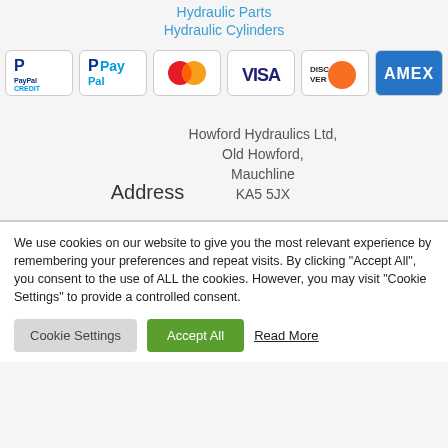Hydraulic Parts
Hydraulic Cylinders
[Figure (illustration): Payment method icons: PayPal Credit, PayPal, Mastercard, Visa, Discover, American Express (AMEX)]
Address
Howford Hydraulics Ltd,
Old Howford,
Mauchline
KA5 5JX
We use cookies on our website to give you the most relevant experience by remembering your preferences and repeat visits. By clicking "Accept All", you consent to the use of ALL the cookies. However, you may visit "Cookie Settings" to provide a controlled consent.
Cookie Settings | Accept All | Read More